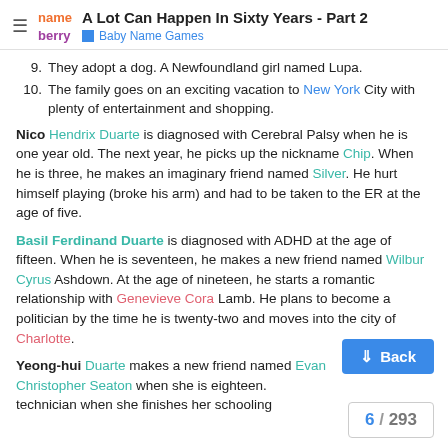A Lot Can Happen In Sixty Years - Part 2 | Baby Name Games
9. They adopt a dog. A Newfoundland girl named Lupa.
10. The family goes on an exciting vacation to New York City with plenty of entertainment and shopping.
Nico Hendrix Duarte is diagnosed with Cerebral Palsy when he is one year old. The next year, he picks up the nickname Chip. When he is three, he makes an imaginary friend named Silver. He hurt himself playing (broke his arm) and had to be taken to the ER at the age of five.
Basil Ferdinand Duarte is diagnosed with ADHD at the age of fifteen. When he is seventeen, he makes a new friend named Wilbur Cyrus Ashdown. At the age of nineteen, he starts a romantic relationship with Genevieve Cora Lamb. He plans to become a politician by the time he is twenty-two and moves into the city of Charlotte.
Yeong-hui Duarte makes a new friend named Evan Christopher Seaton when she is eighteen. technician when she finishes her schooling